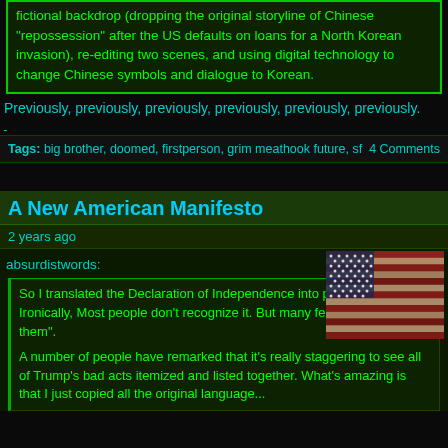fictional backdrop (dropping the original storyline of Chinese "repossession" after the US defaults on loans for a North Korean invasion), re-editing two scenes, and using digital technology to change Chinese symbols and dialogue to Korean.
Previously, previously, previously, previously, previously, previously.
Tags:  big brother, doomed, firstperson, grim meathook future, sf     4 Comments
A New American Manifesto
2 years ago
absurdistwords:
[Figure (illustration): An image of a distressed/vintage-style American flag with red and white stripes and blue canton with white stars, displayed with a weathered appearance.]
So I translated the Declaration of Independence into plain English. Ironically, Most people don't recognize it. But many feel it "speaks to them".
A number of people have remarked that it's really staggering to see all of Trump's bad acts itemized and listed together. What's amazing is that I just copied all the original language...